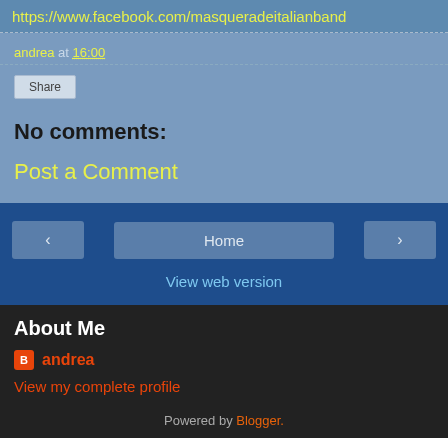https://www.facebook.com/masqueradeitalianband
andrea at 16:00
Share
No comments:
Post a Comment
< Home >
View web version
About Me
andrea
View my complete profile
Powered by Blogger.